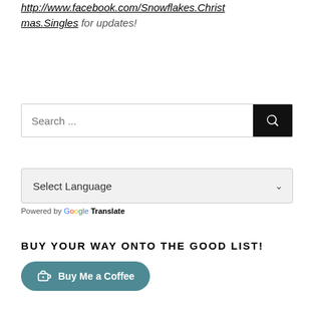http://www.facebook.com/Snowflakes.Christmas.Singles for updates!
[Figure (other): Search box with text 'Search ...' and a black search button with magnifying glass icon]
[Figure (other): Language selector dropdown showing 'Select Language' with chevron, and 'Powered by Google Translate' below]
BUY YOUR WAY ONTO THE GOOD LIST!
[Figure (other): Buy Me a Coffee button with coffee cup icon]